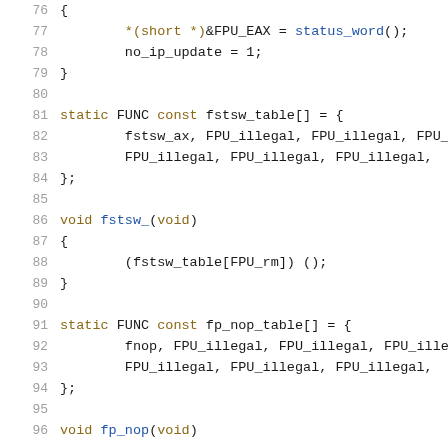76  {
77      *(short *)&FPU_EAX = status_word();
78      no_ip_update = 1;
79  }
80
81  static FUNC const fstsw_table[] = {
82          fstsw_ax, FPU_illegal, FPU_illegal, FPU_
83          FPU_illegal, FPU_illegal, FPU_illegal,
84  };
85
86  void fstsw_(void)
87  {
88          (fstsw_table[FPU_rm]) ();
89  }
90
91  static FUNC const fp_nop_table[] = {
92          fnop, FPU_illegal, FPU_illegal, FPU_ille
93          FPU_illegal, FPU_illegal, FPU_illegal,
94  };
95
96  void fp_nop(void)